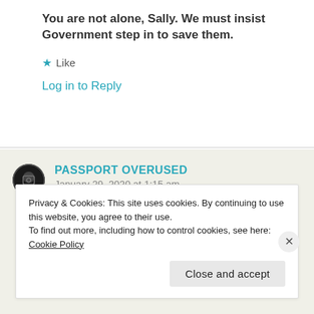You are not alone, Sally. We must insist Government step in to save them.
★ Like
Log in to Reply
PASSPORT OVERUSED
January 29, 2020 at 1:15 am
Great post 🙂
Privacy & Cookies: This site uses cookies. By continuing to use this website, you agree to their use.
To find out more, including how to control cookies, see here: Cookie Policy
Close and accept